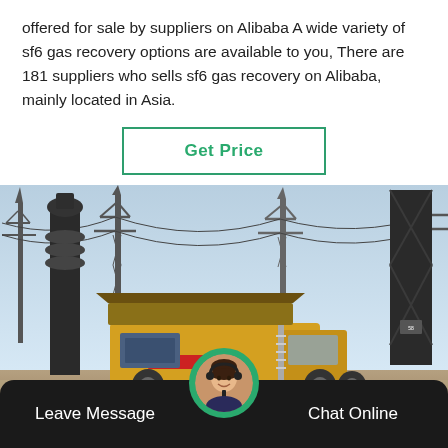offered for sale by suppliers on Alibaba A wide variety of sf6 gas recovery options are available to you, There are 181 suppliers who sells sf6 gas recovery on Alibaba, mainly located in Asia.
Get Price
[Figure (photo): SF6 gas recovery truck (yellow utility vehicle) parked at an electrical substation with high-voltage towers and transmission lines in the background.]
Leave Message
Chat Online